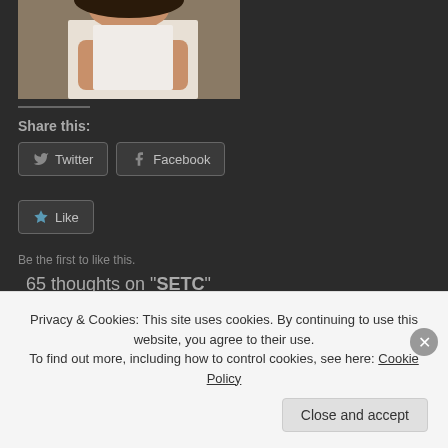[Figure (photo): Partial photo of a person in white clothing, cropped at top of page]
Share this:
Twitter
Facebook
Like
Be the first to like this.
65 thoughts on "SETC"
AMARESH on January 26, 2015 at 4:47 PM said:
Sir,
I am leaving in cathapalayam(vill), near 5 Kms from Cummidingand
Privacy & Cookies: This site uses cookies. By continuing to use this website, you agree to their use. To find out more, including how to control cookies, see here: Cookie Policy
Close and accept